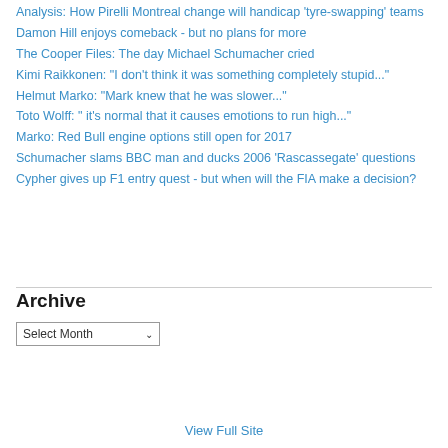Analysis: How Pirelli Montreal change will handicap 'tyre-swapping' teams
Damon Hill enjoys comeback - but no plans for more
The Cooper Files: The day Michael Schumacher cried
Kimi Raikkonen: "I don't think it was something completely stupid..."
Helmut Marko: "Mark knew that he was slower..."
Toto Wolff: " it's normal that it causes emotions to run high..."
Marko: Red Bull engine options still open for 2017
Schumacher slams BBC man and ducks 2006 'Rascassegate' questions
Cypher gives up F1 entry quest - but when will the FIA make a decision?
Archive
Select Month
View Full Site